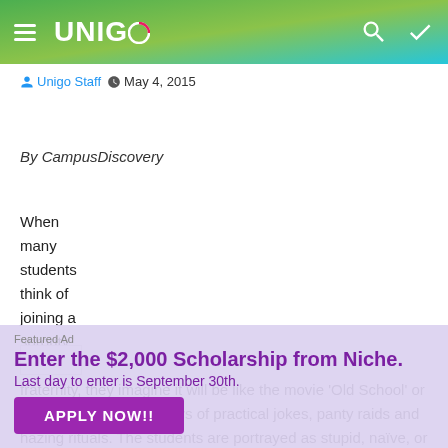UNIGO — Unigo Staff · May 4, 2015
By CampusDiscovery
When many students think of joining a sorority or fraternity, they imagine it will be like the movie 'Old School' or 'Accepted' – endless days of practical jokes, panty raids and hazing rituals. The students are portrayed as stupid, naïve, or completely self-absorbed. While today's Greek students still enjoy...
[Figure (screenshot): Featured Ad overlay: Enter the $2,000 Scholarship from Niche. Last day to enter is September 30th. APPLY NOW!! button in purple.]